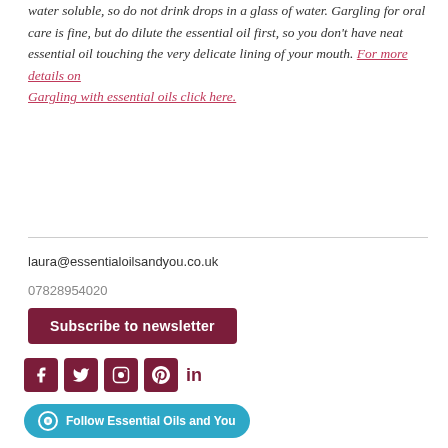water soluble, so do not drink drops in a glass of water. Gargling for oral care is fine, but do dilute the essential oil first, so you don't have neat essential oil touching the very delicate lining of your mouth. For more details on Gargling with essential oils click here.
laura@essentialoilsandyou.co.uk
07828954020
Subscribe to newsletter
[Figure (infographic): Social media icons: Facebook, Twitter, Instagram, Pinterest, LinkedIn in dark red/maroon color]
Follow Essential Oils and You